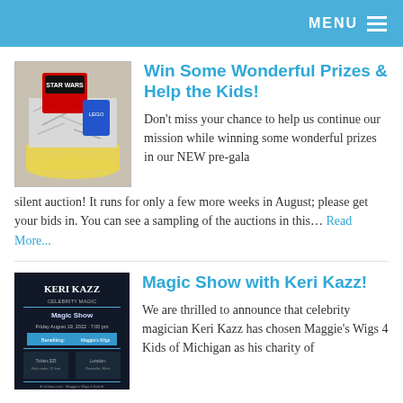MENU
[Figure (photo): LEGO Star Wars prize basket with shredded silver paper filling and a blue gift bag]
Win Some Wonderful Prizes & Help the Kids!
Don't miss your chance to help us continue our mission while winning some wonderful prizes in our NEW pre-gala silent auction! It runs for only a few more weeks in August; please get your bids in. You can see a sampling of the auctions in this... Read More...
[Figure (photo): Keri Kazz magic show promotional flyer with event details on dark background]
Magic Show with Keri Kazz!
We are thrilled to announce that celebrity magician Keri Kazz has chosen Maggie's Wigs 4 Kids of Michigan as his charity of